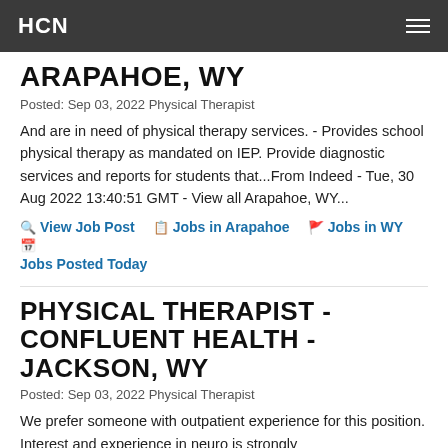HCN
ARAPAHOE, WY
Posted: Sep 03, 2022 Physical Therapist
And are in need of physical therapy services. - Provides school physical therapy as mandated on IEP. Provide diagnostic services and reports for students that...From Indeed - Tue, 30 Aug 2022 13:40:51 GMT - View all Arapahoe, WY...
View Job Post
Jobs in Arapahoe
Jobs in WY
Jobs Posted Today
PHYSICAL THERAPIST - CONFLUENT HEALTH - JACKSON, WY
Posted: Sep 03, 2022 Physical Therapist
We prefer someone with outpatient experience for this position. Interest and experience in neuro is strongly